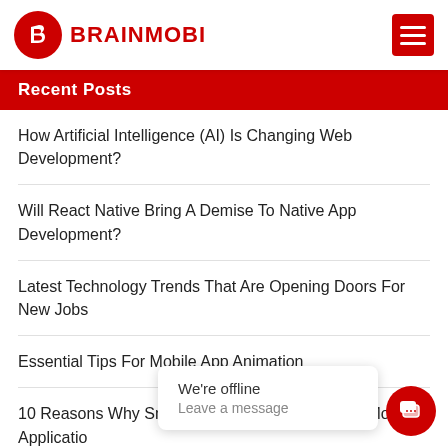BRAINMOBI
Recent Posts
How Artificial Intelligence (AI) Is Changing Web Development?
Will React Native Bring A Demise To Native App Development?
Latest Technology Trends That Are Opening Doors For New Jobs
Essential Tips For Mobile App Animation
10 Reasons Why Small Business Should Have A Mobile Application
We're offline
Leave a message